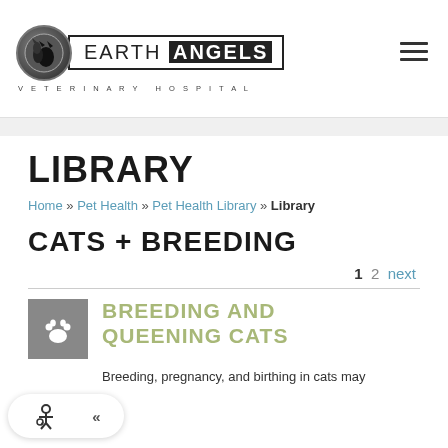[Figure (logo): Earth Angels Veterinary Hospital logo with circle icon containing pet silhouettes, black bordered text box]
LIBRARY
Home » Pet Health » Pet Health Library » Library
CATS + BREEDING
1  2  next
[Figure (illustration): Gray square icon with white paw print]
BREEDING AND QUEENING CATS
Breeding, pregnancy, and birthing in cats may